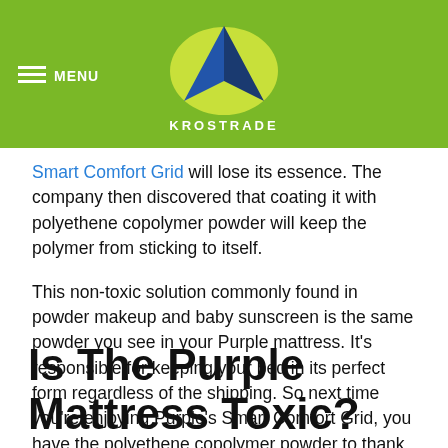MENU | KROSTRADE
Smart Comfort Grid will lose its essence. The company then discovered that coating it with polyethene copolymer powder will keep the polymer from sticking to itself.
This non-toxic solution commonly found in powder makeup and baby sunscreen is the same powder you see in your Purple mattress. It's responsible for keeping your bed in its perfect form regardless of the shipping. So next time you're enjoying Purple's Smart Comfort Grid, you have the polyethene copolymer powder to thank.
Is The Purple Mattress Toxic?